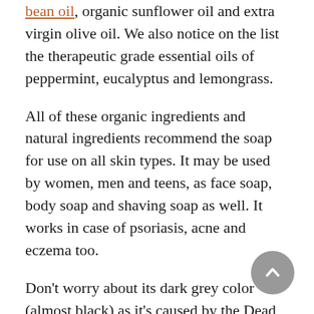bean oil, organic sunflower oil and extra virgin olive oil. We also notice on the list the therapeutic grade essential oils of peppermint, eucalyptus and lemongrass.
All of these organic ingredients and natural ingredients recommend the soap for use on all skin types. It may be used by women, men and teens, as face soap, body soap and shaving soap as well. It works in case of psoriasis, acne and eczema too.
Don't worry about its dark grey color (almost black) as it's caused by the Dead Sea mud and charcoal within the formula.
The fine grains within the soap are going to exfoliate, getting your skin rid of the dead skin cells and giving it a nice glow. The secret tight...